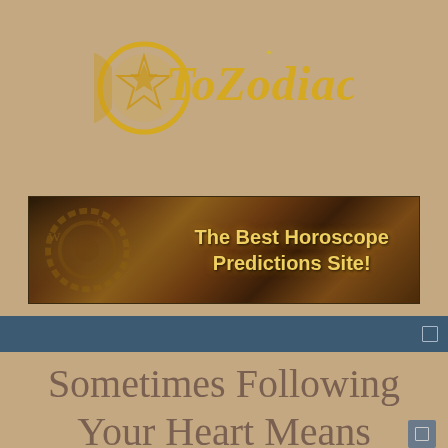[Figure (logo): ToZodiac logo with golden crescent circle containing a pentagram star, and golden italic text 'ToZodiac' with a small star accent above the Z]
[Figure (infographic): Banner advertisement with dark brown golden background featuring clock gears and text 'The Best Horoscope Predictions Site!' in bold golden-yellow font]
Sometimes Following Your Heart Means